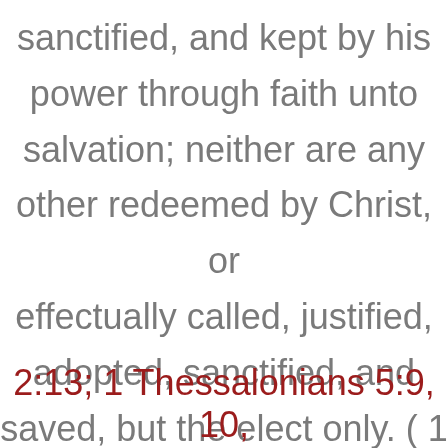sanctified, and kept by his power through faith unto salvation; neither are any other redeemed by Christ, or effectually called, justified, adopted, sanctified, and saved, but the elect only. ( 1 Peter 1:2; 2 Thessalonians
2:13; 1 Thessalonians 5:9, 10,